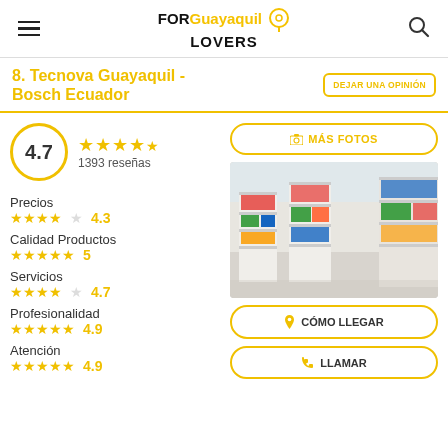FOR Guayaquil LOVERS
8. Tecnova Guayaquil - Bosch Ecuador
DEJAR UNA OPINIÓN
4.7 — 1393 reseñas
MÁS FOTOS
[Figure (photo): Interior of Tecnova Guayaquil Bosch Ecuador store showing white product shelves stocked with colorful automotive/tool products]
Precios ★★★★☆ 4.3
Calidad Productos ★★★★★ 5
Servicios ★★★★☆ 4.7
Profesionalidad ★★★★★ 4.9
Atención ★★★★★ 4.9
CÓMO LLEGAR
LLAMAR